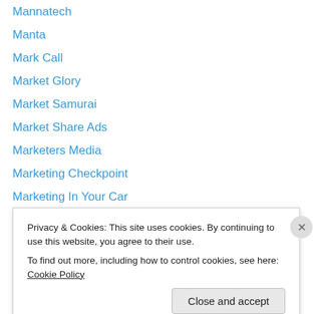Mannatech
Manta
Mark Call
Market Glory
Market Samurai
Market Share Ads
Marketers Media
Marketing Checkpoint
Marketing In Your Car
Marketing With Alex
Marketing With Anik 2.0
Mass Money Traffic Machine
Mass Traffic Avalanche
Massive Passive Memberships
Privacy & Cookies: This site uses cookies. By continuing to use this website, you agree to their use.
To find out more, including how to control cookies, see here: Cookie Policy
Close and accept